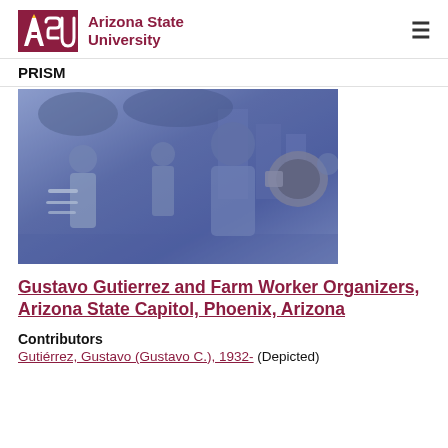ASU Arizona State University
PRISM
[Figure (photo): Black and white photo with blue tint showing Gustavo Gutierrez and farm worker organizers at Arizona State Capitol, Phoenix, Arizona. People are gathered outdoors, one person holding papers, another holding a megaphone.]
Gustavo Gutierrez and Farm Worker Organizers, Arizona State Capitol, Phoenix, Arizona
Contributors
Gutiérrez, Gustavo (Gustavo C.), 1932- (Depicted)